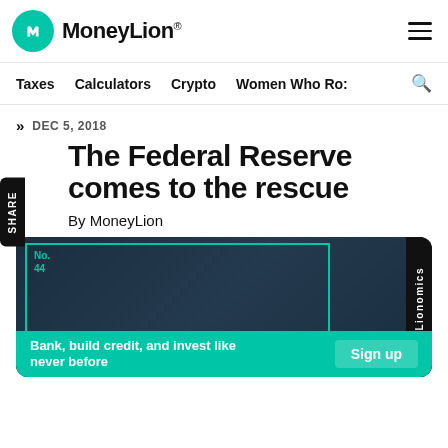MoneyLion
Taxes | Calculators | Crypto | Women Who Ro:
DEC 5, 2018
The Federal Reserve comes to the rescue
By MoneyLion
[Figure (illustration): Lionomics article card showing 'No. 44' and 'What is the' text with teal border on dark background, with Lionomics vertical sidebar label]
Bank, build credit, and invest like never before
Sign up